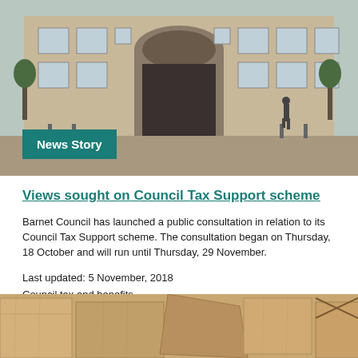[Figure (photo): Photo of a grand brick building facade with large arched entrance and multiple windows, outdoor plaza area with a person walking]
News Story
Views sought on Council Tax Support scheme
Barnet Council has launched a public consultation in relation to its Council Tax Support scheme. The consultation began on Thursday, 18 October and will run until Thursday, 29 November.
Last updated: 5 November, 2018
Council tax and benefits
[Figure (photo): Close-up photo of wooden puzzle or block pieces in various shapes]